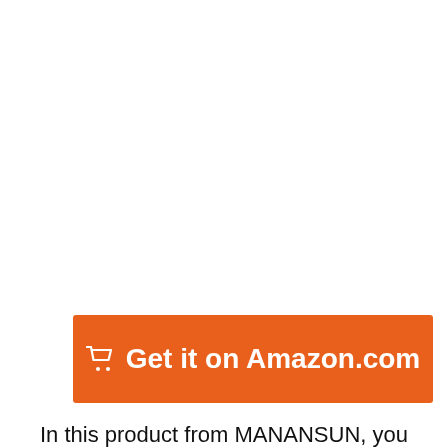[Figure (other): Orange 'Get it on Amazon.com' button with a shopping cart icon]
In this product from MANANSUN, you will get an AC/DC converter and a solar